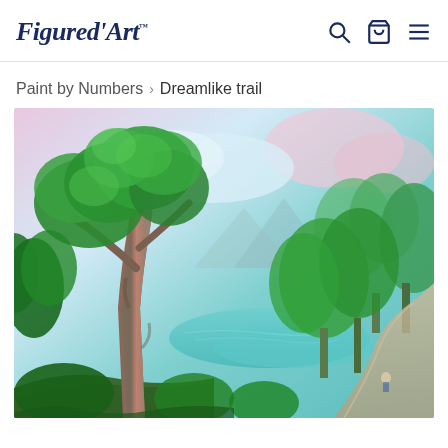Figured'Art [logo with search, cart, menu icons]
Paint by Numbers > Dreamlike trail
[Figure (illustration): A painting of a dreamlike forest trail scene with tall green trees, a winding path, a teal-blue lake or river in the background, lush green foliage, and a softly painted pink and blue sky. This is a paint-by-numbers style landscape painting.]